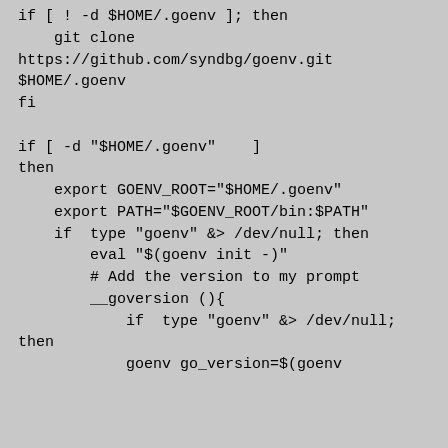if [ ! -d $HOME/.goenv ]; then
    git clone
https://github.com/syndbg/goenv.git
$HOME/.goenv
fi

if [ -d "$HOME/.goenv"    ]
then
    export GOENV_ROOT="$HOME/.goenv"
    export PATH="$GOENV_ROOT/bin:$PATH"
    if  type "goenv" &> /dev/null; then
        eval "$(goenv init -)"
        # Add the version to my prompt
        __goversion (){
            if  type "goenv" &> /dev/null;
then
            goenv go_version=$(goenv